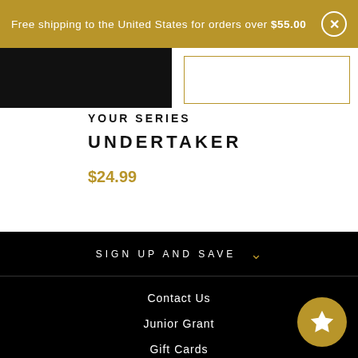Free shipping to the United States for orders over $55.00
YOUR SERIES UNDERTAKER
$24.99
SIGN UP AND SAVE
Contact Us
Junior Grant
Gift Cards
About Us
Podcasts
Check out our Patreon
Analysis and Opinion Blogs